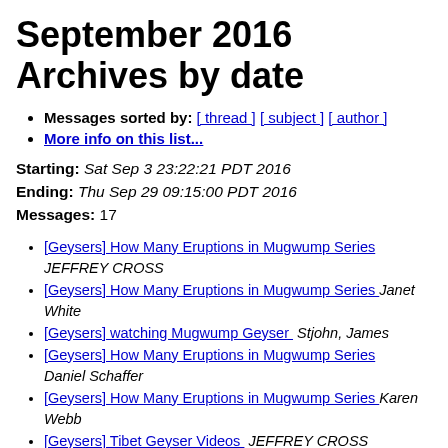September 2016 Archives by date
Messages sorted by: [ thread ] [ subject ] [ author ]
More info on this list...
Starting: Sat Sep 3 23:22:21 PDT 2016
Ending: Thu Sep 29 09:15:00 PDT 2016
Messages: 17
[Geysers] How Many Eruptions in Mugwump Series  JEFFREY CROSS
[Geysers] How Many Eruptions in Mugwump Series  Janet White
[Geysers] watching Mugwump Geyser  Stjohn, James
[Geysers] How Many Eruptions in Mugwump Series  Daniel Schaffer
[Geysers] How Many Eruptions in Mugwump Series  Karen Webb
[Geysers] Tibet Geyser Videos  JEFFREY CROSS
[Geysers] Tibet Geyser Videos  TSBryan at aol.com
[Geysers] Tibet Geyser Videos  Bruce Jensen
[Geysers] Tibet Geyser Videos  Karen Webb